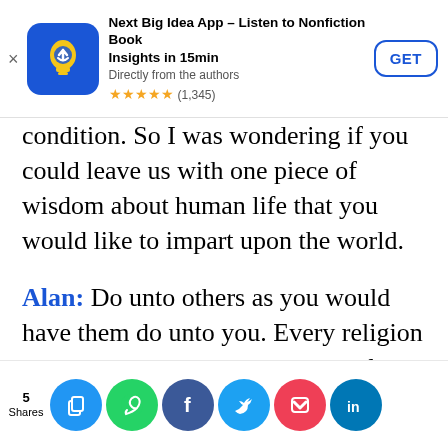[Figure (screenshot): App store banner for 'Next Big Idea App – Listen to Nonfiction Book Insights in 15min' with app icon, rating 4.9 stars (1,345), and GET button]
condition. So I was wondering if you could leave us with one piece of wisdom about human life that you would like to impart upon the world.
Alan: Do unto others as you would have them do unto you. Every religion on Earth subscribes to that rule of moral and ethical behavior, so I think it's an absolute. I think if you live by that one rule, you will be a good person.
[Figure (screenshot): Social share bar showing 5 Shares with icons for copy, WhatsApp, Facebook, Twitter, Pocket, and LinkedIn]
Impossibilities: Musings on Beginning, and